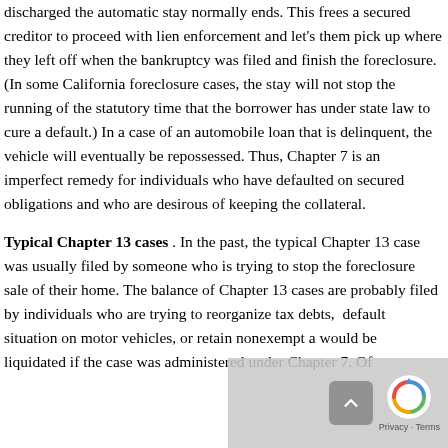discharged the automatic stay normally ends. This frees a secured creditor to proceed with lien enforcement and let's them pick up where they left off when the bankruptcy was filed and finish the foreclosure. (In some California foreclosure cases, the stay will not stop the running of the statutory time that the borrower has under state law to cure a default.) In a case of an automobile loan that is delinquent, the vehicle will eventually be repossessed. Thus, Chapter 7 is an imperfect remedy for individuals who have defaulted on secured obligations and who are desirous of keeping the collateral.
Typical Chapter 13 cases. In the past, the typical Chapter 13 case was usually filed by someone who is trying to stop the foreclosure sale of their home. The balance of Chapter 13 cases are probably filed by individuals who are trying to reorganize tax debts, default situation on motor vehicles, or retain nonexempt assets that would be liquidated if the case was administered under Chapter 7. Of